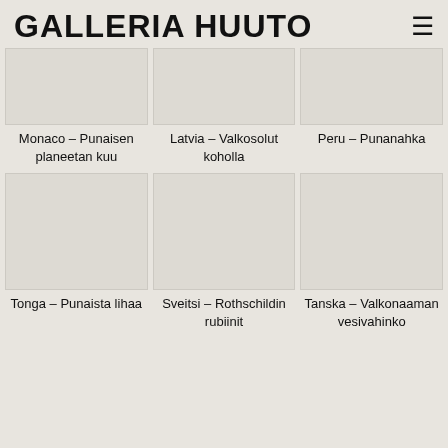GALLERIA HUUTO
[Figure (photo): Gray placeholder image for Monaco – Punaisen planeetan kuu]
Monaco – Punaisen planeetan kuu
[Figure (photo): Gray placeholder image for Latvia – Valkosolut koholla]
Latvia – Valkosolut koholla
[Figure (photo): Gray placeholder image for Peru – Punanahka]
Peru – Punanahka
[Figure (photo): Gray placeholder image for Tonga – Punaista lihaa]
Tonga – Punaista lihaa
[Figure (photo): Gray placeholder image for Sveitsi – Rothschildin rubiinit]
Sveitsi – Rothschildin rubiinit
[Figure (photo): Gray placeholder image for Tanska – Valkonaaman vesivahinko]
Tanska – Valkonaaman vesivahinko